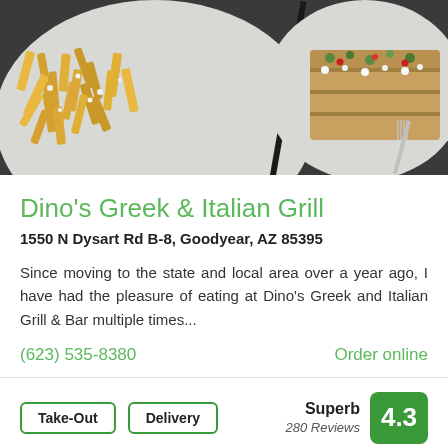[Figure (photo): Top-down photo of restaurant food: a plate of french fries with white crumbles on the left, and a piece of pastry/flatbread dish with vegetables and feta cheese on the right, with cutlery visible]
Dino's Greek & Italian Grill
1550 N Dysart Rd B-8, Goodyear, AZ 85395
Since moving to the state and local area over a year ago, I have had the pleasure of eating at Dino's Greek and Italian Grill & Bar multiple times...
(623) 535-8380
Order online
Take-Out
Delivery
Superb 280 Reviews 4.3